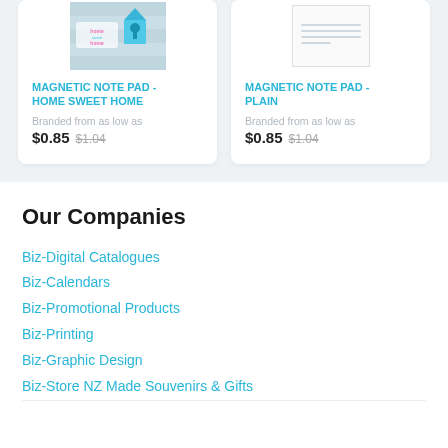[Figure (photo): Product image for Magnetic Note Pad - Home Sweet Home, showing decorative birdhouse and home sweet home text on a wooden background]
MAGNETIC NOTE PAD - HOME SWEET HOME
Branded from as low as
$0.85  $1.04
[Figure (photo): Product image for Magnetic Note Pad - Plain, showing a plain notepad with ruled lines]
MAGNETIC NOTE PAD - PLAIN
Branded from as low as
$0.85  $1.04
Our Companies
Biz-Digital Catalogues
Biz-Calendars
Biz-Promotional Products
Biz-Printing
Biz-Graphic Design
Biz-Store NZ Made Souvenirs & Gifts